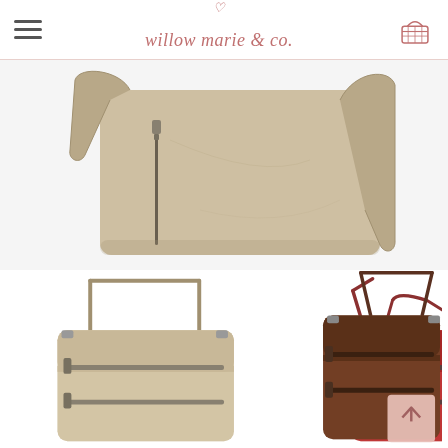willow marie & co.
[Figure (photo): Close-up of a taupe/beige crossbody bag with zipper detail and shoulder strap on white background]
[Figure (photo): Three crossbody bags shown side by side: beige/taupe, red, and dark brown, each with double zipper detail and shoulder strap]